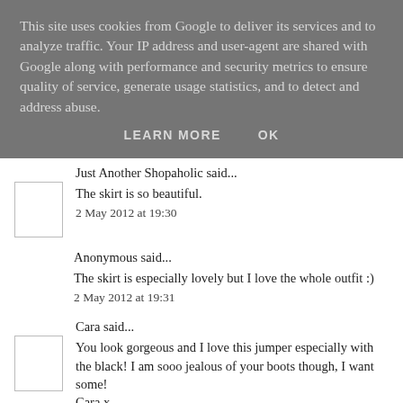This site uses cookies from Google to deliver its services and to analyze traffic. Your IP address and user-agent are shared with Google along with performance and security metrics to ensure quality of service, generate usage statistics, and to detect and address abuse.
LEARN MORE    OK
Just Another Shopaholic said...
The skirt is so beautiful.
2 May 2012 at 19:30
Anonymous said...
The skirt is especially lovely but I love the whole outfit :)
2 May 2012 at 19:31
Cara said...
You look gorgeous and I love this jumper especially with the black! I am sooo jealous of your boots though, I want some!
Cara x
2 May 2012 at 19:31